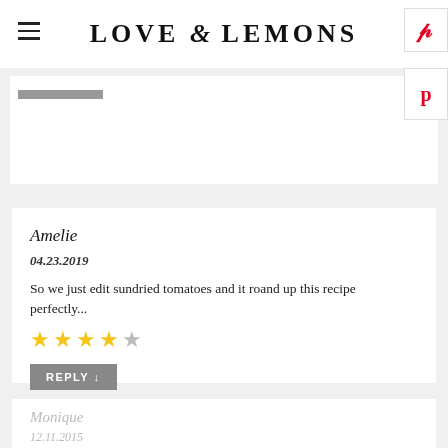LOVE & LEMONS
Amelie
04.23.2019
So we just edit sundried tomatoes and it roand up this recipe perfectly...
★★★★☆
REPLY ↓
Monique
12.11.2015